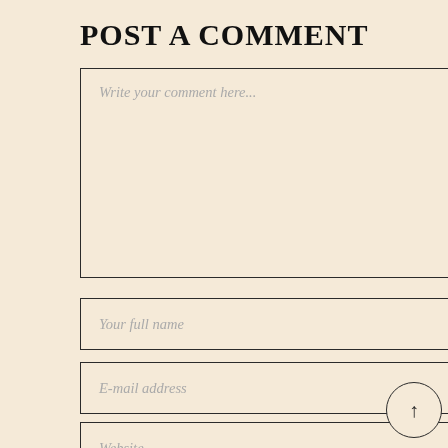POST A COMMENT
Write your comment here...
Your full name
E-mail address
Website
Save my name, email, and website in